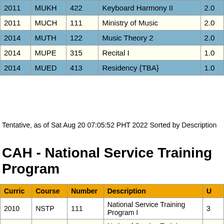| Curric | Course | Number | Description | Units |
| --- | --- | --- | --- | --- |
| 2011 | MUKH | 422 | Keyboard Harmony II | 2.0 |
| 2011 | MUCH | 111 | Ministry of Music | 2.0 |
| 2014 | MUTH | 122 | Music Theory 2 | 2.0 |
| 2014 | MUPE | 315 | Recital I | 1.0 |
| 2014 | MUED | 413 | Residency {TBA} | 1.0 |
Tentative, as of Sat Aug 20 07:05:52 PHT 2022 Sorted by Description
CAH - National Service Training Program
| Curric | Course | Number | Description | Units |
| --- | --- | --- | --- | --- |
| 2010 | NSTP | 111 | National Service Training Program I | 3 |
| 2011 | NSTP | 122 | National Service Training Program II | 3 |
| 2011 | NSTP | 122 | National Service Training Program II [for CWTS] | 3 |